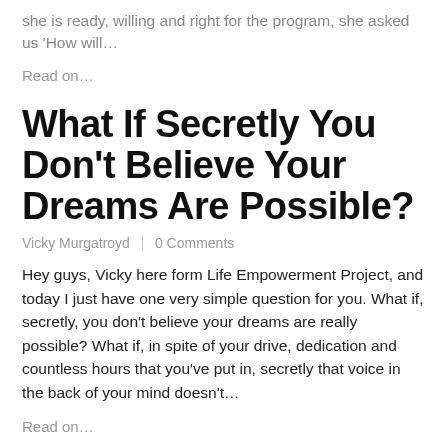she is ready, willing and right for the program, she asked us 'How will…
Read on…
What If Secretly You Don't Believe Your Dreams Are Possible?
Vicky Murgatroyd | 0 Comments
Hey guys, Vicky here form Life Empowerment Project, and today I just have one very simple question for you. What if, secretly, you don't believe your dreams are really possible? What if, in spite of your drive, dedication and countless hours that you've put in, secretly that voice in the back of your mind doesn't…
Read on…